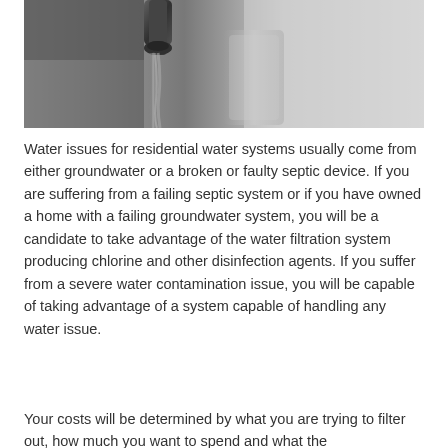[Figure (photo): Black and white close-up photo of water flowing from a faucet tap into a glass]
Water issues for residential water systems usually come from either groundwater or a broken or faulty septic device. If you are suffering from a failing septic system or if you have owned a home with a failing groundwater system, you will be a candidate to take advantage of the water filtration system producing chlorine and other disinfection agents. If you suffer from a severe water contamination issue, you will be capable of taking advantage of a system capable of handling any water issue.
Your costs will be determined by what you are trying to filter out, how much you want to spend and what the